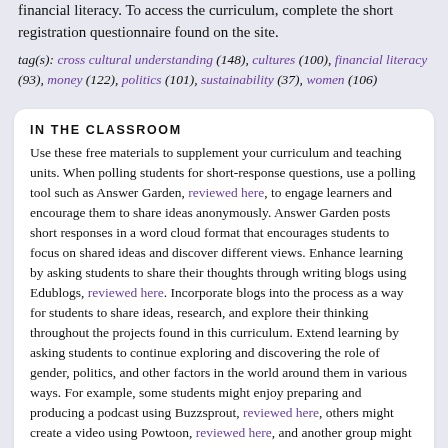financial literacy. To access the curriculum, complete the short registration questionnaire found on the site.
tag(s): cross cultural understanding (148), cultures (100), financial literacy (93), money (122), politics (101), sustainability (37), women (106)
IN THE CLASSROOM
Use these free materials to supplement your curriculum and teaching units. When polling students for short-response questions, use a polling tool such as Answer Garden, reviewed here, to engage learners and encourage them to share ideas anonymously. Answer Garden posts short responses in a word cloud format that encourages students to focus on shared ideas and discover different views. Enhance learning by asking students to share their thoughts through writing blogs using Edublogs, reviewed here. Incorporate blogs into the process as a way for students to share ideas, research, and explore their thinking throughout the projects found in this curriculum. Extend learning by asking students to continue exploring and discovering the role of gender, politics, and other factors in the world around them in various ways. For example, some students might enjoy preparing and producing a podcast using Buzzsprout, reviewed here, others might create a video using Powtoon, reviewed here, and another group might prefer to focus on a specific topic using a timeline tool such as History in Motion, reviewed here, to present a visual timeline of world events.
This resource requires PDF reader software like Adobe Acrobat.